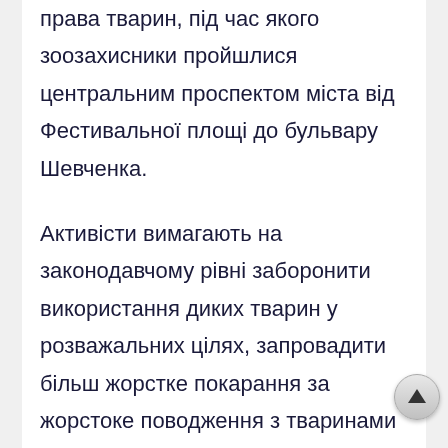права тварин, під час якого зоозахисники пройшлися центральним проспектом міста від Фестивальної площі до бульвару Шевченка.
Активісти вимагають на законодавчому рівні заборонити використання диких тварин у розважальних цілях, запровадити більш жорстке покарання за жорстоке поводження з тваринами тощо.
«Ключові вимоги – це заборона